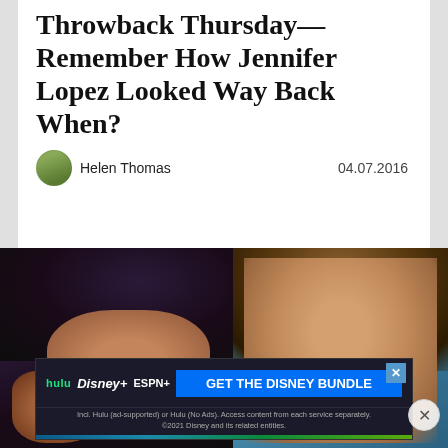Throwback Thursday— Remember How Jennifer Lopez Looked Way Back When?
Helen Thomas   04.07.2016
[Figure (photo): Side-by-side comparison photos of Jennifer Lopez: left shows a younger J.Lo with curly dark hair making a hand gesture, right shows a modern glamour photo with long wavy brown hair]
[Figure (infographic): Disney Bundle advertisement banner with Hulu, Disney+, and ESPN+ logos and 'GET THE DISNEY BUNDLE' button. Fine print: Incl. Hulu (ad-supported) or Hulu (No Ads). Access content from each service separately. ©2021 Disney and its related entities.]